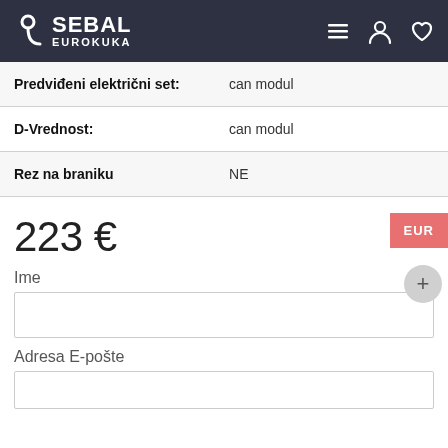[Figure (logo): SEBAL EUROKUKA logo on dark navy header with hamburger menu, user icon, and heart icon]
| Predviđeni električni set: | can modul |
| D-Vrednost: | can modul |
| Rez na braniku | NE |
223 €
EUR
+
Ime
Adresa E-pošte